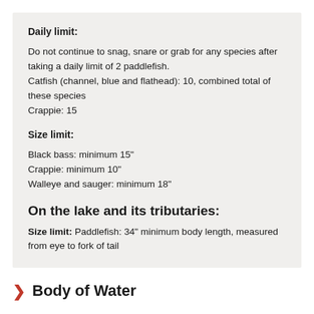Daily limit:
Do not continue to snag, snare or grab for any species after taking a daily limit of 2 paddlefish.
Catfish (channel, blue and flathead): 10, combined total of these species
Crappie: 15
Size limit:
Black bass: minimum 15"
Crappie: minimum 10"
Walleye and sauger: minimum 18"
On the lake and its tributaries:
Size limit: Paddlefish: 34" minimum body length, measured from eye to fork of tail
Body of Water